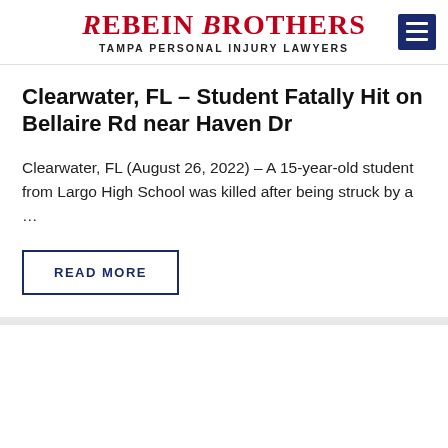Rebein Brothers — Tampa Personal Injury Lawyers
Clearwater, FL – Student Fatally Hit on Bellaire Rd near Haven Dr
Clearwater, FL (August 26, 2022) – A 15-year-old student from Largo High School was killed after being struck by a …
READ MORE